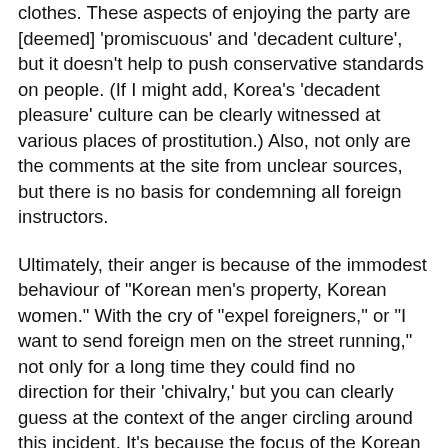clothes. These aspects of enjoying the party are [deemed] 'promiscuous' and 'decadent culture', but it doesn't help to push conservative standards on people. (If I might add, Korea's 'decadent pleasure' culture can be clearly witnessed at various places of prostitution.) Also, not only are the comments at the site from unclear sources, but there is no basis for condemning all foreign instructors.
Ultimately, their anger is because of the immodest behaviour of "Korean men's property, Korean women." With the cry of "expel foreigners," or "I want to send foreign men on the street running," not only for a long time they could find no direction for their 'chivalry,' but you can clearly guess at the context of the anger circling around this incident. It's because the focus of the Korean women's enjoyment at the party was 'foreign men.' Under the nationalist perception of "I will never forgive seeing my women carrying on like that with foreign bastards," these women are